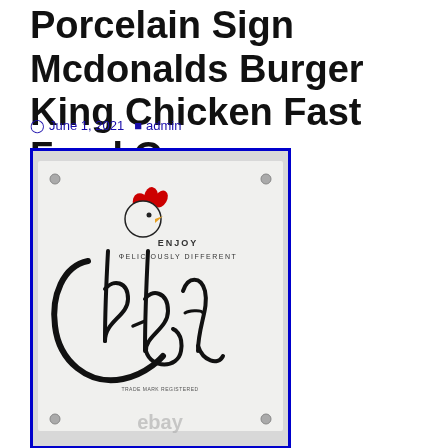Porcelain Sign Mcdonalds Burger King Chicken Fast Food Gas
June 1, 2021  admin
[Figure (photo): A Chick-fil-A porcelain enamel sign photographed on eBay. The white sign shows the Chick-fil-A logo in black cursive script with a red chicken head graphic, and the text 'ENJOY DELICIOUSLY DIFFERENT' above the logo. The eBay watermark is visible at the bottom.]